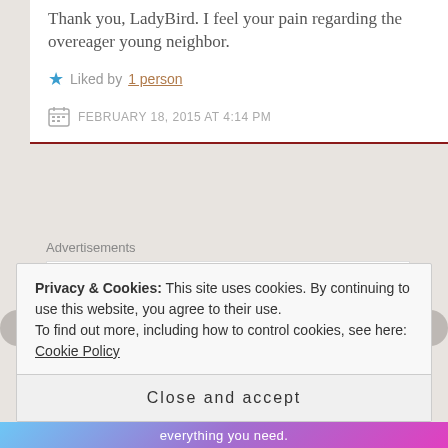Thank you, LadyBird. I feel your pain regarding the overeager young neighbor.
Liked by 1 person
FEBRUARY 18, 2015 AT 4:14 PM
Advertisements
[Figure (logo): AUTOMATTIC logo with blue dot in the O]
Privacy & Cookies: This site uses cookies. By continuing to use this website, you agree to their use. To find out more, including how to control cookies, see here: Cookie Policy
Close and accept
everything you need.